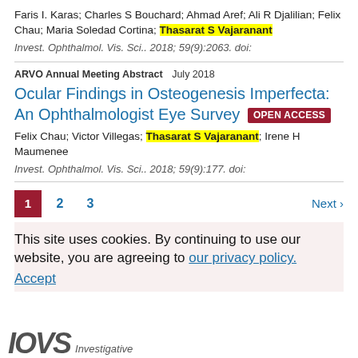Faris I. Karas; Charles S Bouchard; Ahmad Aref; Ali R Djalilian; Felix Chau; Maria Soledad Cortina; Thasarat S Vajaranant
Invest. Ophthalmol. Vis. Sci.. 2018; 59(9):2063. doi:
ARVO Annual Meeting Abstract   July 2018
Ocular Findings in Osteogenesis Imperfecta: An Ophthalmologist Eye Survey
Felix Chau; Victor Villegas; Thasarat S Vajaranant; Irene H Maumenee
Invest. Ophthalmol. Vis. Sci.. 2018; 59(9):177. doi:
1  2  3  Next ›
This site uses cookies. By continuing to use our website, you are agreeing to our privacy policy. Accept